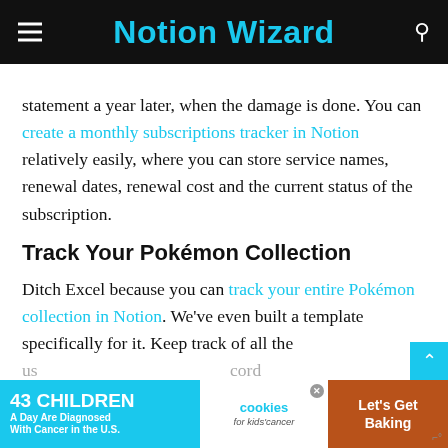Notion Wizard
statement a year later, when the damage is done. You can create a monthly subscriptions tracker in Notion relatively easily, where you can store service names, renewal dates, renewal cost and the current status of the subscription.
Track Your Pokémon Collection
Ditch Excel because you can track your entire Pokémon collection in Notion. We've even built a template specifically for it. Keep track of all the us... cord na... as
[Figure (screenshot): Advertisement banner: '43 CHILDREN A Day Are Diagnosed With Cancer in the U.S.' with cookies for kids' cancer logo and 'Let's Get Baking' text on orange background]